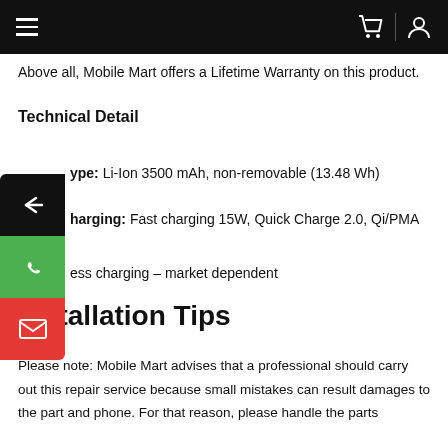Mobile Mart navigation header with hamburger menu, cart icon, and user icon
Above all, Mobile Mart offers a Lifetime Warranty on this product.
Technical Detail
Type: Li-Ion 3500 mAh, non-removable (13.48 Wh)
Charging: Fast charging 15W, Quick Charge 2.0, Qi/PMA
ess charging – market dependent
Installation Tips
Please note: Mobile Mart advises that a professional should carry out this repair service because small mistakes can result damages to the part and phone. For that reason, please handle the parts